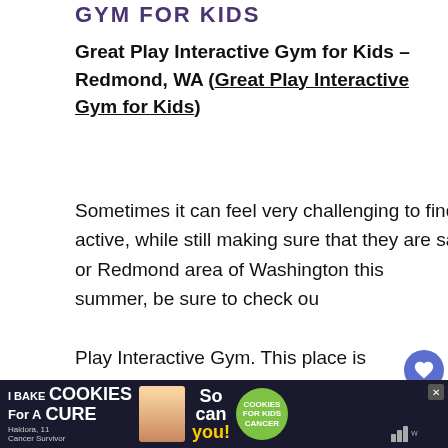GYM FOR KIDS
Great Play Interactive Gym for Kids – Redmond, WA (Great Play Interactive Gym for Kids)
Sometimes it can feel very challenging to find ways for your kids to play and be active, while still making sure that they are safe. If you are in the Kirkland or Redmond area of Washington this summer, be sure to check out... Play Interactive Gym. This place is
[Figure (other): Heart/like button showing count 4 and share icon]
[Figure (other): What's Next promotional widget: '10 Fun Things to Do in Met...' with thumbnail]
[Figure (other): Advertisement banner: I Bake COOKIES For A CURE - Haldora, 11 Cancer Survivor - cookies for kids cancer - So can you!]